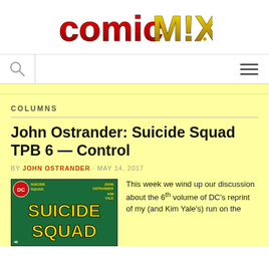ComicMix
COLUMNS
John Ostrander: Suicide Squad TPB 6 — Control
BY JOHN OSTRANDER · MAY 14, 2017
[Figure (photo): Cover of Suicide Squad comic book issue 48, featuring large yellow 'SUICIDE SQUAD' text on a dark green background with DC logo]
This week we wind up our discussion about the 6th volume of DC's reprint of my (and Kim Yale's) run on the